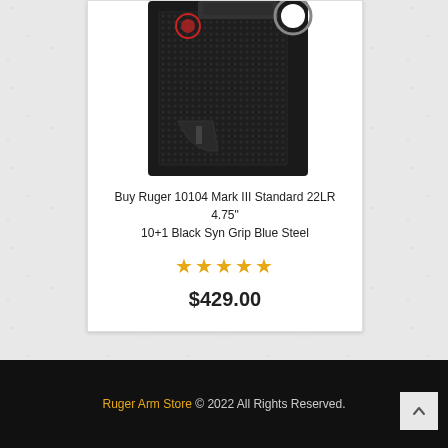[Figure (photo): Product photo of Ruger 10104 Mark III Standard pistol with black synthetic grip, partially cropped at top]
Buy Ruger 10104 Mark III Standard 22LR 4.75" 10+1 Black Syn Grip Blue Steel
★★★★★ (5 stars rating)
$429.00
Ruger Arm Store © 2022 All Rights Reserved.